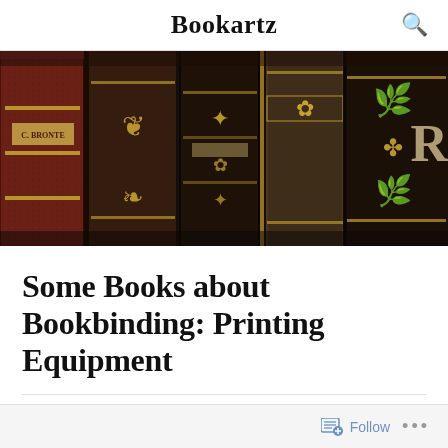Bookartz
[Figure (photo): Close-up photograph of antique leather-bound book spines on a shelf, showing ornate gold embossing and decorative patterns. One spine reads 'C. BRONTE'. Dark brown and maroon leather covers with gilded floral motifs.]
Some Books about Bookbinding: Printing Equipment
Follow ...